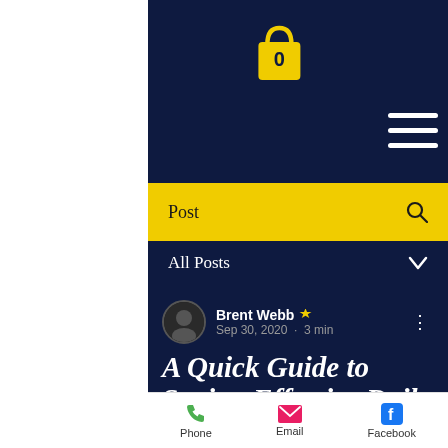0
[Figure (screenshot): Shopping bag icon with number 0, yellow, on dark navy background]
[Figure (other): Hamburger menu icon (three horizontal white lines) on dark navy background]
Post
All Posts
Brent Webb · Sep 30, 2020 · 3 min
A Quick Guide to Setting Effective Daily
Phone   Email   Facebook